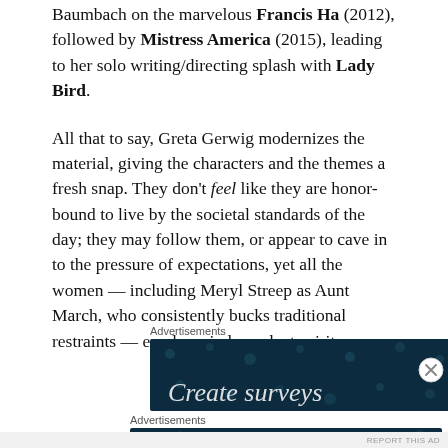Baumbach on the marvelous Francis Ha (2012), followed by Mistress America (2015), leading to her solo writing/directing splash with Lady Bird.
All that to say, Greta Gerwig modernizes the material, giving the characters and the themes a fresh snap. They don't feel like they are honor-bound to live by the societal standards of the day; they may follow them, or appear to cave in to the pressure of expectations, yet all the women — including Meryl Streep as Aunt March, who consistently bucks traditional restraints — exude an independent spirit.
Advertisements
[Figure (screenshot): Dark teal advertisement banner with circular dot pattern and partial text 'Create surveys']
Advertisements
[Figure (screenshot): Advertisement banner: 'Create surveys, polls, quizzes, and forms.' with WordPress and Survey logos on dark teal background]